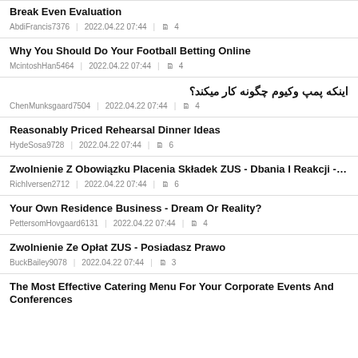Break Even Evaluation
AbdiFrancis7376 | 2022.04.22 07:44 | 🗎 4
Why You Should Do Your Football Betting Online
McintoshHan5464 | 2022.04.22 07:44 | 🗎 4
اینکه پمپ وکیوم چگونه کار میکند؟
ChenMunksgaard7504 | 2022.04.22 07:44 | 🗎 4
Reasonably Priced Rehearsal Dinner Ideas
HydeSosa9728 | 2022.04.22 07:44 | 🗎 6
Zwolnienie Z Obowiązku Placenia Składek ZUS - Dbania I Reakcji - SerwisKadrowego.pl
RichIversen2712 | 2022.04.22 07:44 | 🗎 6
Your Own Residence Business - Dream Or Reality?
PettersomHovgaard6131 | 2022.04.22 07:44 | 🗎 4
Zwolnienie Ze Opłat ZUS - Posiadasz Prawo
BuckBailey9078 | 2022.04.22 07:44 | 🗎 3
The Most Effective Catering Menu For Your Corporate Events And Conferences